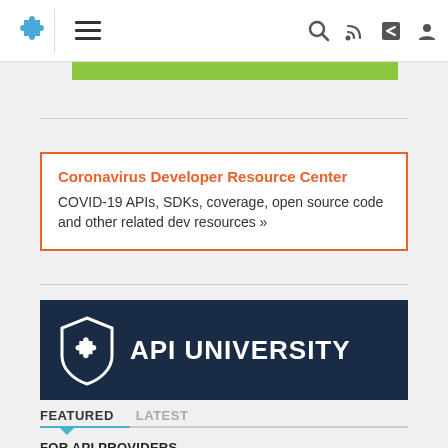[Figure (screenshot): Website navigation bar with puzzle piece logo, hamburger menu, search icon, RSS icon, share icon, and user icon]
[Figure (other): Green banner bar below navigation]
Coronavirus Developer Resource Center
COVID-19 APIs, SDKs, coverage, open source code and other related dev resources »
[Figure (logo): API University banner with puzzle piece shield logo and text API UNIVERSITY on dark navy background]
FEATURED   LATEST
FOR API PROVIDERS